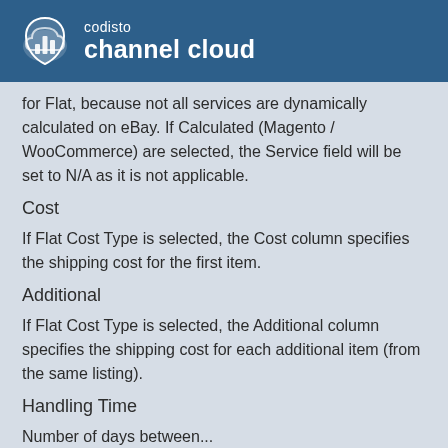codisto channel cloud
for Flat, because not all services are dynamically calculated on eBay. If Calculated (Magento / WooCommerce) are selected, the Service field will be set to N/A as it is not applicable.
Cost
If Flat Cost Type is selected, the Cost column specifies the shipping cost for the first item.
Additional
If Flat Cost Type is selected, the Additional column specifies the shipping cost for each additional item (from the same listing).
Handling Time
Number of days between...